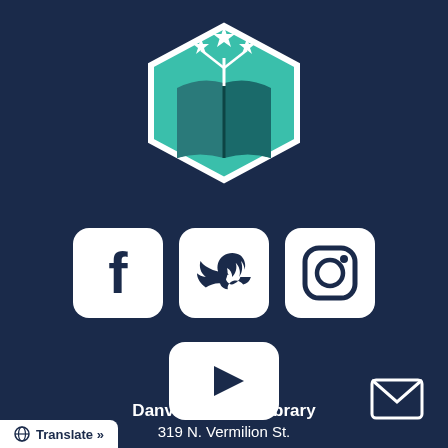[Figure (logo): Danville Public Library hexagon logo — teal hexagon with open book and three white stars on stems, like fireworks]
[Figure (infographic): Three social media icons in white rounded square boxes: Facebook (f), Twitter (bird), Instagram (camera circle)]
[Figure (infographic): YouTube icon in white rounded rectangle box: play triangle button]
[Figure (infographic): Email envelope icon outline in white]
Translate »
Danville Public Library
319 N. Vermilion St.